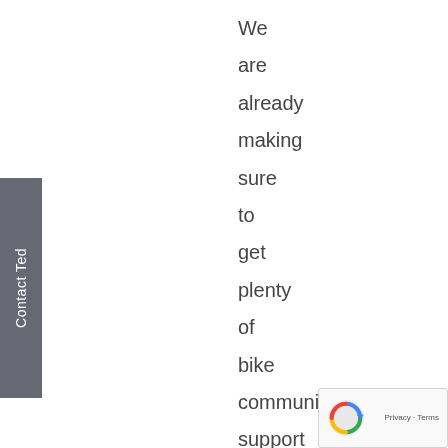We are already making sure to get plenty of bike community support and recognition. So even though this has taken a couple of years
[Figure (other): Sidebar tab with rotated text 'Contact Ted' on a grey background]
[Figure (other): reCAPTCHA badge with Privacy and Terms links]